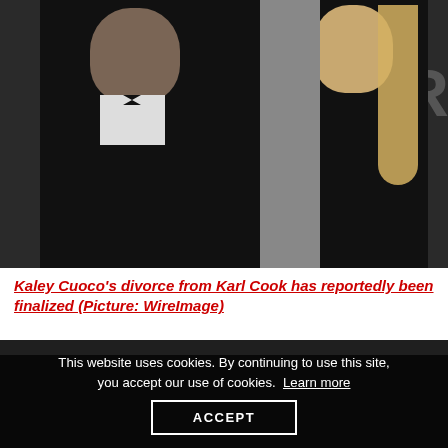[Figure (photo): A man in a black tuxedo with bow tie and a blonde woman in a black dress posing together at an event with a backdrop showing partial text]
Kaley Cuoco's divorce from Karl Cook has reportedly been finalized (Picture: WireImage)
This website uses cookies. By continuing to use this site, you accept our use of cookies. Learn more